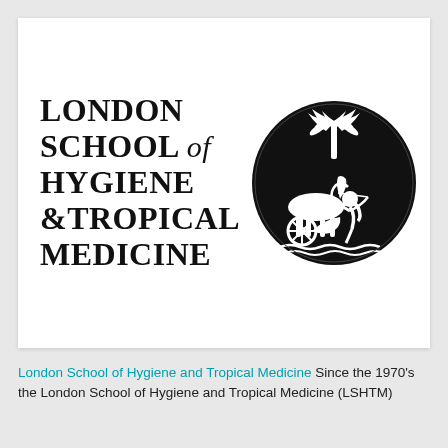[Figure (logo): London School of Hygiene & Tropical Medicine logo: bold serif text on left reading LONDON SCHOOL of HYGIENE & TROPICAL MEDICINE, and a circular black emblem on the right depicting a classical scene with a horse-drawn chariot, archer, and palm tree.]
London School of Hygiene and Tropical Medicine Since the 1970's the London School of Hygiene and Tropical Medicine (LSHTM)